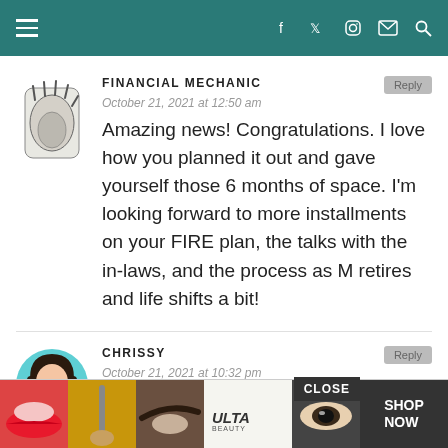Financial Mechanic navigation bar with hamburger menu and social icons
FINANCIAL MECHANIC
October 21, 2021 at 12:50 am
Amazing news! Congratulations. I love how you planned it out and gave yourself those 6 months of space. I'm looking forward to more installments on your FIRE plan, the talks with the in-laws, and the process as M retires and life shifts a bit!
CHRISSY
October 21, 2021 at 10:32 pm
[Figure (photo): Ulta Beauty advertisement banner with makeup-themed photos including lipstick, makeup brush, eyebrows, Ulta logo, eye makeup, and SHOP NOW button]